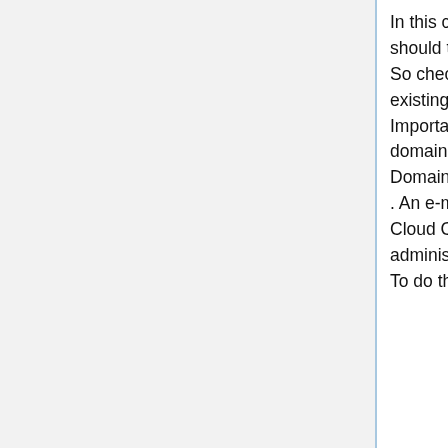In this case, a Microsoft 365 admin center should already exist and the customer should therefore also have an onmicrosoft domain.
So check the box "Use Microsoft domain". You now have the option to enter the existing domain.
Important here: It is not mandatory to enter the onmicrosoft domain, but always the domain that is marked as default in the Microsoft 365 Admin Center under Setup -> Domains.
. An e-mail with the confirmation link is then sent to the e-mail address stored in the Cloud Center by the end customer, via which the transfer of the delegated administration to Wortmann AG must be confirmed.
To do this, simply log in via the link with the global administrator credentials for